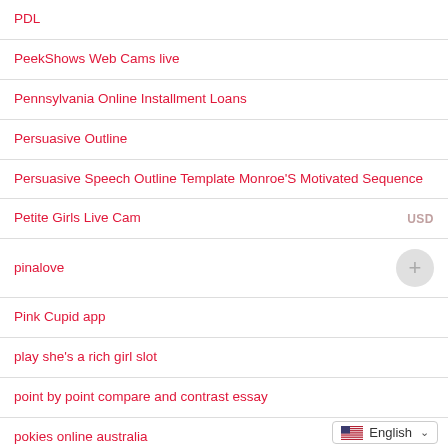PDL
PeekShows Web Cams live
Pennsylvania Online Installment Loans
Persuasive Outline
Persuasive Speech Outline Template Monroe'S Motivated Sequence
Petite Girls Live Cam
pinalove
Pink Cupid app
play she's a rich girl slot
point by point compare and contrast essay
pokies online australia